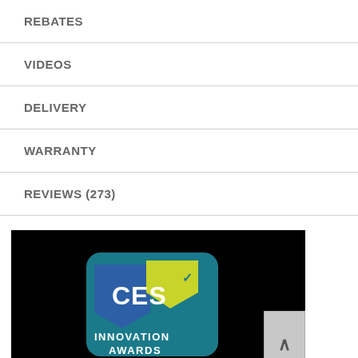REBATES
VIDEOS
DELIVERY
WARRANTY
REVIEWS (273)
[Figure (screenshot): CES Innovation Awards logo on black background video thumbnail]